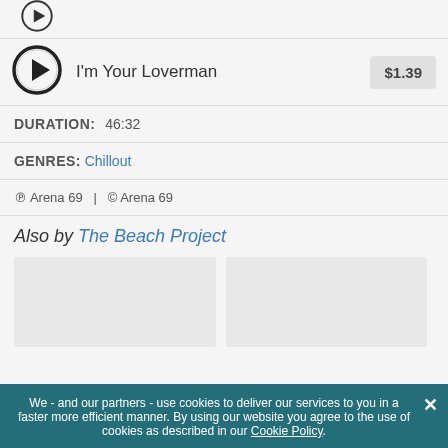[Figure (illustration): Play button circle icon for a track (partially visible at top)]
[Figure (illustration): Play button circle icon for 'I'm Your Loverman' track]
I'm Your Loverman
$1.39
DURATION:  46:32
GENRES:  Chillout
℗ Arena 69  |  © Arena 69
Also by The Beach Project
[Figure (illustration): Album thumbnail placeholder (left)]
[Figure (illustration): Album thumbnail placeholder (right)]
We - and our partners - use cookies to deliver our services to you in a faster more efficient manner. By using our website you agree to the use of cookies as described in our Cookie Policy.